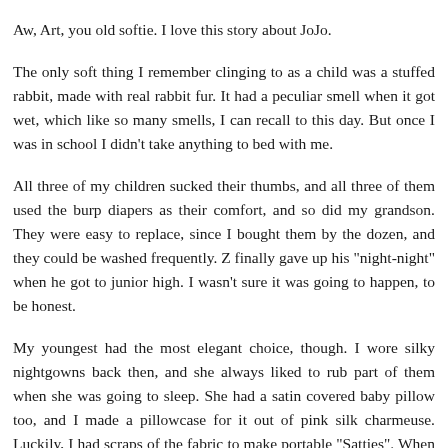Aw, Art, you old softie. I love this story about JoJo.
The only soft thing I remember clinging to as a child was a stuffed rabbit, made with real rabbit fur. It had a peculiar smell when it got wet, which like so many smells, I can recall to this day. But once I was in school I didn't take anything to bed with me.
All three of my children sucked their thumbs, and all three of them used the burp diapers as their comfort, and so did my grandson. They were easy to replace, since I bought them by the dozen, and they could be washed frequently. Z finally gave up his "night-night" when he got to junior high. I wasn't sure it was going to happen, to be honest.
My youngest had the most elegant choice, though. I wore silky nightgowns back then, and she always liked to rub part of them when she was going to sleep. She had a satin covered baby pillow too, and I made a pillowcase for it out of pink silk charmeuse. Luckily, I had scraps of the fabric to make portable "Satties". When it came time to wean her away from it we changed to a "big girl" pillow, and I just